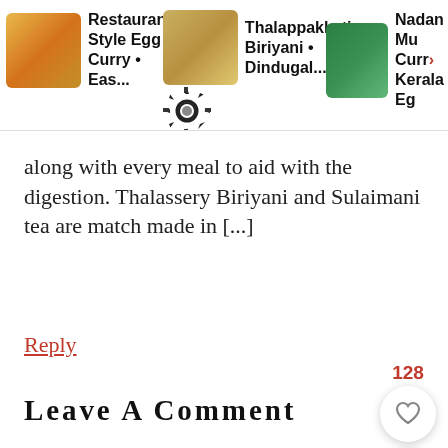[Figure (screenshot): Website header bar showing three recipe cards: 'Restaurant Style Egg Curry • Eas...', 'Thalappakkati Biriyani • Dindugal...', and 'Nadan Mu... Curry > Kerala Eg' with food photos and a gear/settings icon overlay]
along with every meal to aid with the digestion. Thalassery Biriyani and Sulaimani tea are match made in [...]
Reply
Leave A Comment
Your email address will not be published. Required fields are marked *
Recipe Rating
[Figure (other): Five star rating icons (empty/outline stars)]